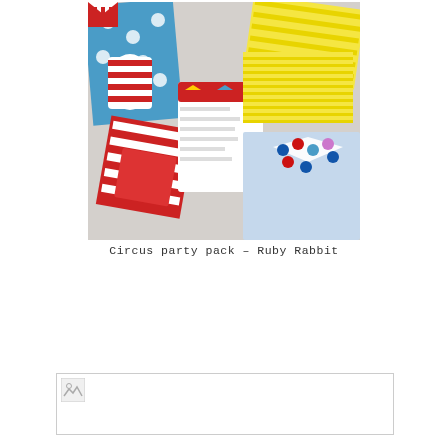[Figure (photo): Circus party pack items including red and white striped cups, polka dot wrapping, yellow striped paper straws, red and white striped boxes, a circus themed invitation card, and a light blue envelope with colorful polka dot bow. Items arranged on a light grey surface. Product by Ruby Rabbit.]
Circus party pack – Ruby Rabbit
[Figure (photo): Partially loaded image placeholder (broken/loading image icon visible in top-left corner)]